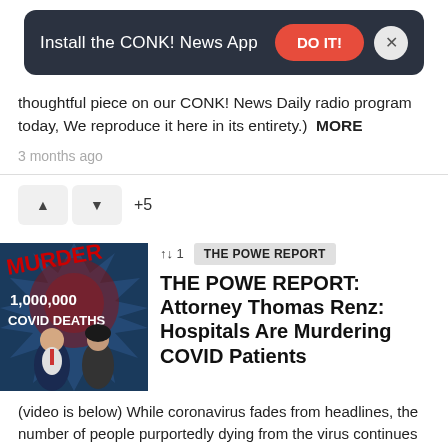[Figure (screenshot): Dark banner with text 'Install the CONK! News App', a red 'DO IT!' button, and a close X button]
thoughtful piece on our CONK! News Daily radio program today, We reproduce it here in its entirety.)  MORE
3 months ago
[Figure (other): Upvote/downvote buttons with +5 score]
[Figure (photo): Article thumbnail showing text MURDER 1,000,000 COVID DEATHS with two people in foreground]
↑↓ 1   THE POWE REPORT
THE POWE REPORT: Attorney Thomas Renz: Hospitals Are Murdering COVID Patients
(video is below) While coronavirus fades from headlines, the number of people purportedly dying from the virus continues to climb. Over one million Americans have now purportedly